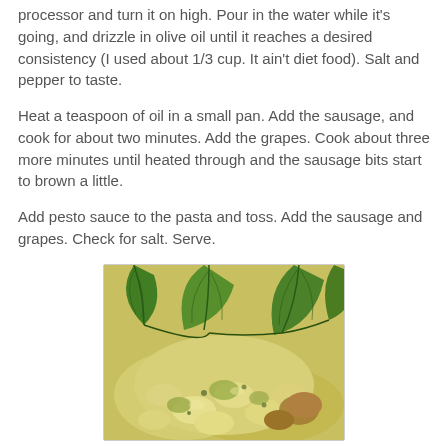processor and turn it on high. Pour in the water while it's going, and drizzle in olive oil until it reaches a desired consistency (I used about 1/3 cup. It ain't diet food). Salt and pepper to taste.
Heat a teaspoon of oil in a small pan. Add the sausage, and cook for about two minutes. Add the grapes. Cook about three more minutes until heated through and the sausage bits start to brown a little.
Add pesto sauce to the pasta and toss. Add the sausage and grapes. Check for salt. Serve.
[Figure (photo): Close-up photo of pasta dish with pesto sauce, sausage and grapes, garnished with fresh basil leaves on top]